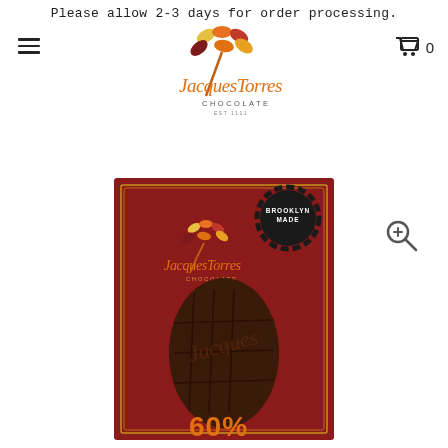Please allow 2-3 days for order processing.
[Figure (logo): Jacques Torres Chocolate logo with colorful leaf/bean shapes and orange cursive text]
[Figure (photo): Jacques Torres Chocolate bar in red packaging showing 60% dark chocolate, with Brooklyn Made badge, logo on front, and oval window revealing the dark chocolate bar inside]